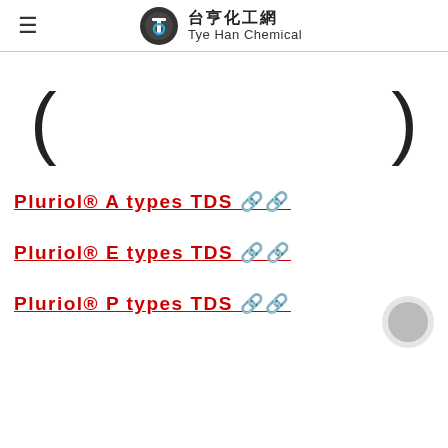台亨化工網 Tye Han Chemical
( )
Pluriol® A types TDS 🔗
Pluriol® E types TDS 🔗
Pluriol® P types TDS 🔗